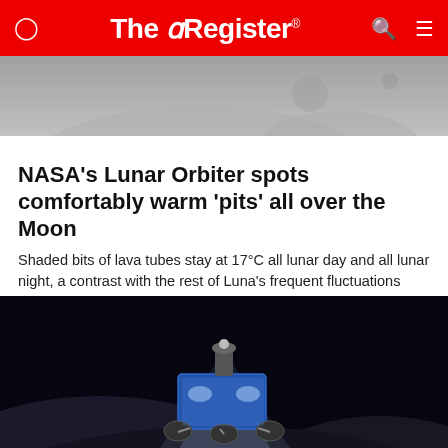The Register
[Figure (photo): Grayscale photo of lunar surface, top strip]
NASA's Lunar Orbiter spots comfortably warm 'pits' all over the Moon
Shaded bits of lava tubes stay at 17°C all lunar day and all lunar night, a contrast with the rest of Luna's frequent fluctuations
SCIENCE    1 month | 80 [comment icon]
[Figure (photo): Artist illustration of a lunar rover on the Moon's surface, dark space background with blue lighting from rover headlights]